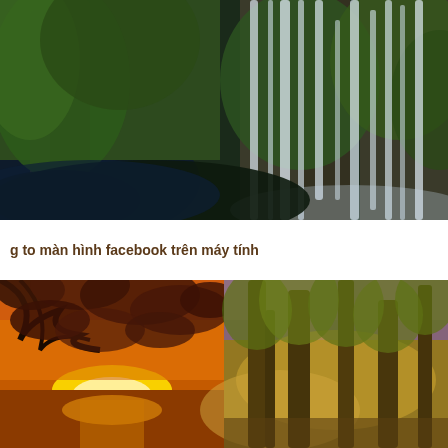[Figure (photo): Lush green forest with tall rocky cliff faces and multiple white waterfalls cascading down, dark moody atmosphere with blue shadows at the bottom]
g to màn hình facebook trên máy tính
[Figure (photo): Split nature scene: left half shows a vibrant orange-red sunset over a river with silhouetted tree branches; right half shows tall trees in a golden misty forest with purple sky]